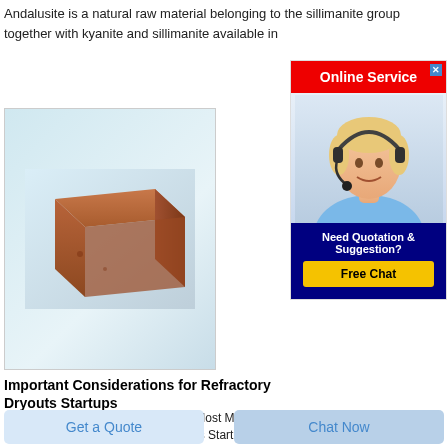Andalusite is a natural raw material belonging to the sillimanite group together with kyanite and sillimanite available in
[Figure (photo): Photo of a brown refractory brick on a light blue-grey background]
[Figure (infographic): Online Service advertisement panel with red header 'Online Service', photo of customer service representative with headset, dark blue footer 'Need Quotation & Suggestion?' and yellow 'Free Chat' button]
Important Considerations for Refractory Dryouts Startups
· Type of Refractory Castable Least Most More difficult Less difficult. Important Considerations for Refractory Dryouts Startups 2011 Calfor R...
Get a Quote
Chat Now